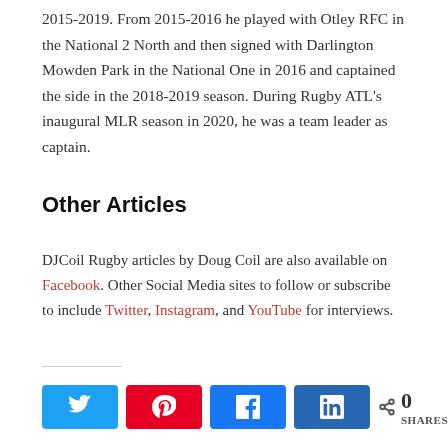2015-2019. From 2015-2016 he played with Otley RFC in the National 2 North and then signed with Darlington Mowden Park in the National One in 2016 and captained the side in the 2018-2019 season. During Rugby ATL's inaugural MLR season in 2020, he was a team leader as captain.
Other Articles
DJCoil Rugby articles by Doug Coil are also available on Facebook. Other Social Media sites to follow or subscribe to include Twitter, Instagram, and YouTube for interviews.
[Figure (infographic): Social share buttons: Twitter (blue), Pinterest (red), Facebook (blue), LinkedIn (dark blue), and a share count showing 0 SHARES]